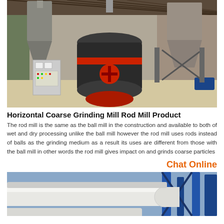[Figure (photo): Industrial grinding mill equipment inside a warehouse/factory. A large black cylindrical rod mill is the central feature with red accent rings and a red base wheel. Conical hoppers/silos are visible on both sides, and a control panel is on the left. The floor has light-colored powder/material.]
Horizontal Coarse Grinding Mill Rod Mill Product
The rod mill is the same as the ball mill in the construction and available to both of wet and dry processing unlike the ball mill however the rod mill uses rods instead of balls as the grinding medium as a result its uses are different from those with the ball mill in other words the rod mill gives impact on and grinds coarse particles
Chat Online
[Figure (photo): Industrial piping and structural steel framework at a mill or processing plant. Large white insulated pipes and blue steel structures are visible from a low angle looking up.]